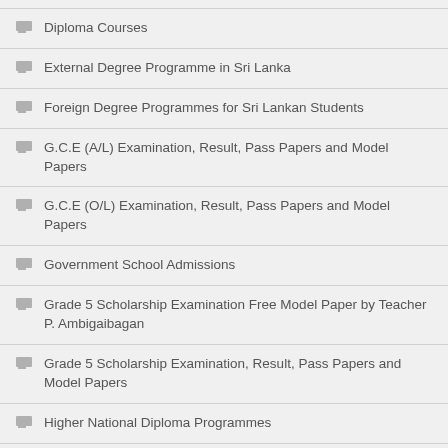Diploma Courses
External Degree Programme in Sri Lanka
Foreign Degree Programmes for Sri Lankan Students
G.C.E (A/L) Examination, Result, Pass Papers and Model Papers
G.C.E (O/L) Examination, Result, Pass Papers and Model Papers
Government School Admissions
Grade 5 Scholarship Examination Free Model Paper by Teacher P. Ambigaibagan
Grade 5 Scholarship Examination, Result, Pass Papers and Model Papers
Higher National Diploma Programmes